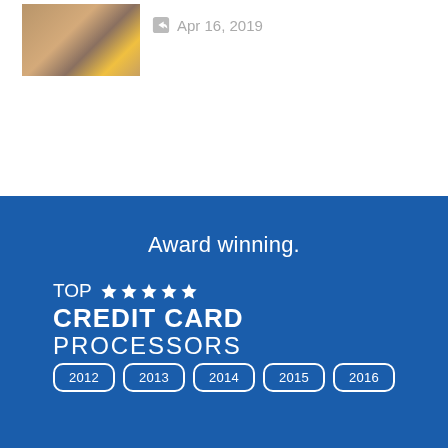[Figure (photo): Thumbnail photo of hands holding a credit card over paper]
Apr 16, 2019
Award winning.
[Figure (logo): TOP 5-star CREDIT CARD PROCESSORS award logo with year badges 2012, 2013, 2014, 2015, 2016]